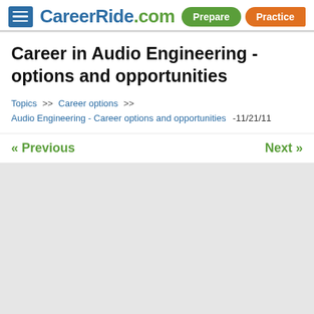CareerRide.com | Prepare | Practice
Career in Audio Engineering - options and opportunities
Topics >> Career options >> Audio Engineering - Career options and opportunities -11/21/11
« Previous   Next »
[Figure (other): Light gray advertisement or content placeholder box]